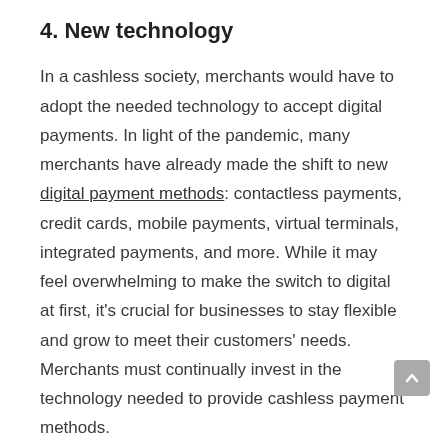4. New technology
In a cashless society, merchants would have to adopt the needed technology to accept digital payments. In light of the pandemic, many merchants have already made the shift to new digital payment methods: contactless payments, credit cards, mobile payments, virtual terminals, integrated payments, and more. While it may feel overwhelming to make the switch to digital at first, it's crucial for businesses to stay flexible and grow to meet their customers' needs. Merchants must continually invest in the technology needed to provide cashless payment methods.
5. Safe and easy payment methods